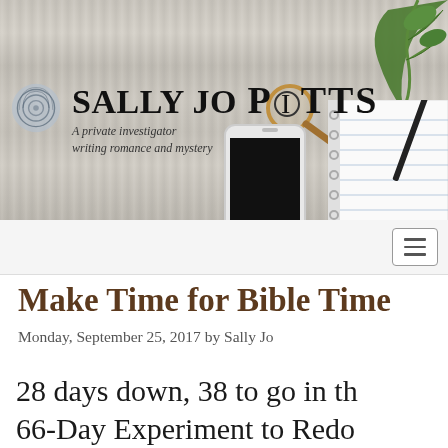[Figure (photo): Website banner for Sally Jo Pitts - a private investigator writing romance and mystery. Shows a light wood background with a fingerprint logo, magnifying glass, smartphone, notebook, pen, and green rose stem. Text reads SALLY JO PITTS with tagline 'A private investigator writing romance and mystery'.]
[Figure (screenshot): Navigation hamburger menu button (three horizontal lines) inside a rounded rectangle border]
Make Time for Bible Time
Monday, September 25, 2017 by Sally Jo
28 days down, 38 to go in the 66-Day Experiment to Redo...